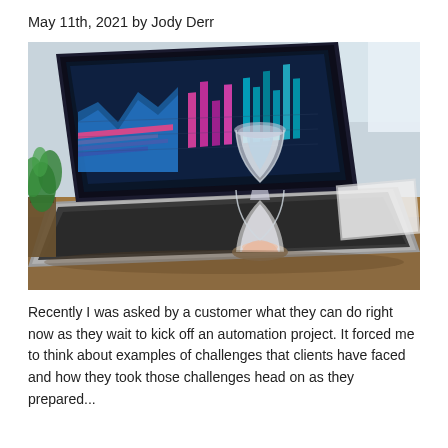May 11th, 2021 by Jody Derr
[Figure (photo): A laptop displaying colorful data charts and dashboards on its screen, with a glass hourglass resting on the keyboard. The laptop sits on a wooden desk beside a small potted plant. A notebook or tablet is visible in the background near a window.]
Recently I was asked by a customer what they can do right now as they wait to kick off an automation project. It forced me to think about examples of challenges that clients have faced and how they took those challenges head on as they prepared...